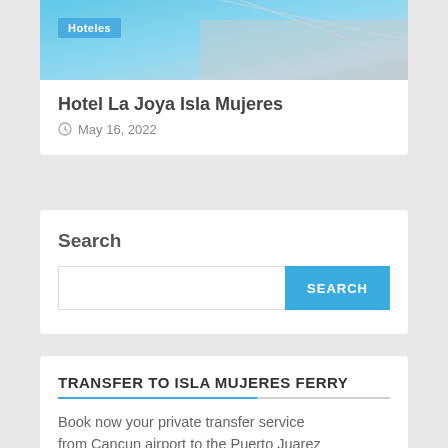[Figure (photo): Hotel pool/beach photo with blue water and netting, with a 'Hoteles' badge overlay]
Hotel La Joya Isla Mujeres
May 16, 2022
Search
TRANSFER TO ISLA MUJERES FERRY
Book now your private transfer service from Cancun airport to the Puerto Juarez maritime terminal, where you can buy your ticket to board the ferry to Isla Mujeres.